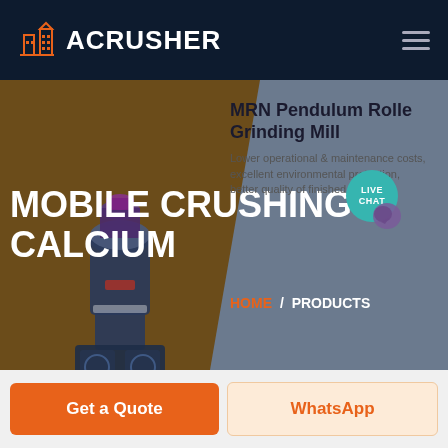ACRUSHER
[Figure (screenshot): Hero banner with mobile crushing calcium title, MRN Pendulum Roller Grinding Mill product card, industrial machine illustration, and navigation breadcrumb HOME / PRODUCTS]
MOBILE CRUSHING CALCIUM
MRN Pendulum Roller Grinding Mill
Lower operational & maintenance costs, excellent environmental protection, better quality of finished products
HOME / PRODUCTS
LIVE CHAT
Get a Quote
WhatsApp